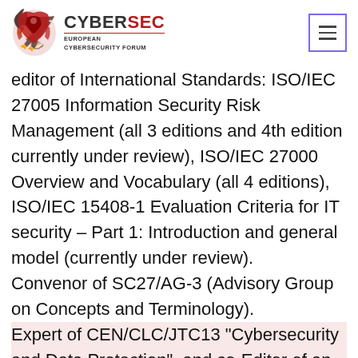CYBERSEC EUROPEAN CYBERSECURITY FORUM
editor of International Standards: ISO/IEC 27005 Information Security Risk Management (all 3 editions and 4th edition currently under review), ISO/IEC 27000 Overview and Vocabulary (all 4 editions), ISO/IEC 15408-1 Evaluation Criteria for IT security – Part 1: Introduction and general model (currently under review). Convenor of SC27/AG-3 (Advisory Group on Concepts and Terminology). Expert of CEN/CLC/JTC13 "Cybersecurity and Data Protection", and co-Editor of an